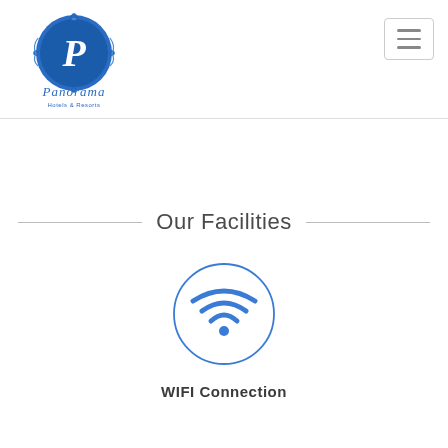[Figure (logo): Panorama Hotels & Resorts logo: blue circular emblem with ornate scroll decorations and a script capital P, below which is cursive text 'Panorama' and smaller text 'Hotels & Resorts']
Our Facilities
[Figure (illustration): Blue WiFi icon (three curved arcs and a dot) inside a thin blue circle]
WIFI Connection